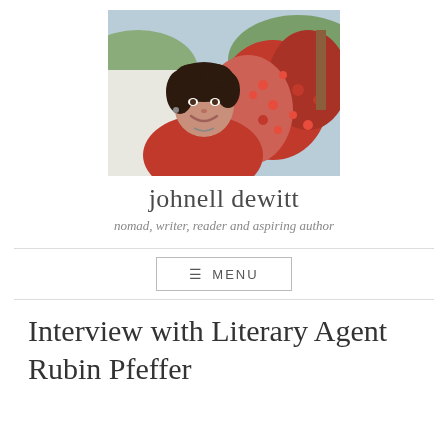[Figure (photo): Portrait photo of a woman with curly dark hair, wearing a red top, smiling, in front of red flowering bushes and trees]
johnell dewitt
nomad, writer, reader and aspiring author
≡ MENU
Interview with Literary Agent Rubin Pfeffer